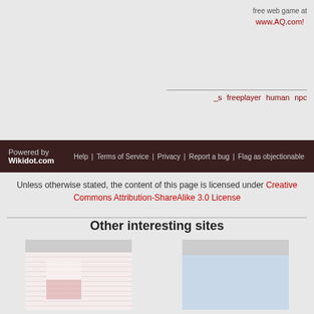free web game at
www.AQ.com!
_s  freeplayer  human  npc
Powered by Wikidot.com | Help | Terms of Service | Privacy | Report a bug | Flag as objectionable
Unless otherwise stated, the content of this page is licensed under Creative Commons Attribution-ShareAlike 3.0 License
Other interesting sites
[Figure (screenshot): Screenshot of Kai's private sandbox website]
Kai's private sandbox
Idk I needed a place to test CSS
[Figure (screenshot): Screenshot of Captain Barefoot website]
Captain Barefoot
The naturist guide to the Greek Islands
[Figure (screenshot): Screenshot of uberOptions website]
uberOptions
Enable all options on all buttons in SetPoint
[Figure (screenshot): Screenshot of SCP-PL Sandbox II website]
SCP-PL Sandbox II
Do pracy rodacy!